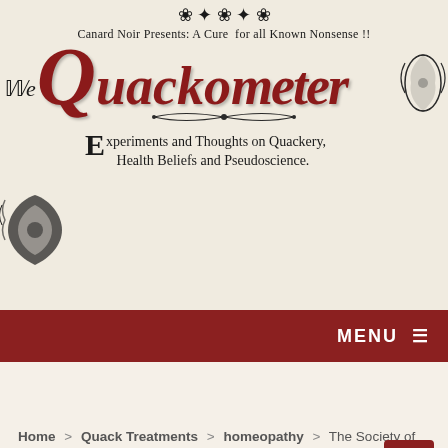[Figure (illustration): The Quackometer website header banner. Features ornate Victorian-style decorative typography. Top line reads 'Canard Noir Presents: A Cure for all Known Nonsense !!' in serif font. Large stylized title 'The Quackometer' in dark red/maroon with decorative initial Q. Subtitle reads 'Experiments and Thoughts on Quackery, Health Beliefs and Pseudoscience.' with decorative initial E. Decorative floral ornaments on left and right sides.]
MENU ☰
Home > Quack Treatments > homeopathy > The Society of Homeopaths are a Shambles and a Bad Joke.
The Society of Homeopaths are a